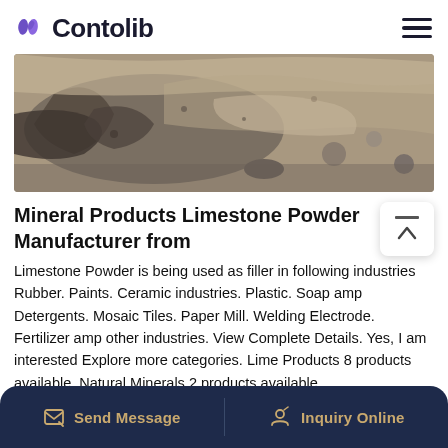Contolib
[Figure (photo): Close-up photo of limestone rock/powder quarry — grey and brown rocky surface]
Mineral Products Limestone Powder Manufacturer from
Limestone Powder is being used as filler in following industries Rubber. Paints. Ceramic industries. Plastic. Soap amp Detergents. Mosaic Tiles. Paper Mill. Welding Electrode. Fertilizer amp other industries. View Complete Details. Yes, I am interested Explore more categories. Lime Products 8 products available. Natural Minerals 2 products available.
Send Message | Inquiry Online